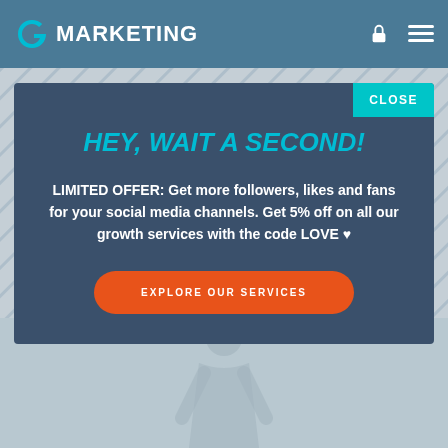G MARKETING
HEY, WAIT A SECOND!
LIMITED OFFER: Get more followers, likes and fans for your social media channels. Get 5% off on all our growth services with the code LOVE ♥
EXPLORE OUR SERVICES
CLOSE